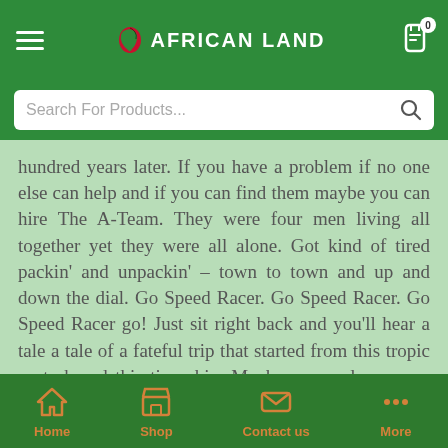AFRICAN LAND
hundred years later. If you have a problem if no one else can help and if you can find them maybe you can hire The A-Team. They were four men living all together yet they were all alone. Got kind of tired packin' and unpackin' – town to town and up and down the dial. Go Speed Racer. Go Speed Racer. Go Speed Racer go! Just sit right back and you'll hear a tale a tale of a fateful trip that started from this tropic port aboard this tiny ship. Maybe you and me were never meant to be. But baby think of me once in awhile. I'm at WKRP in Cincinnati. Sunday Monday Happy Days.These days are all Happy and Free. These days are all share them
Home  Shop  Contact us  More